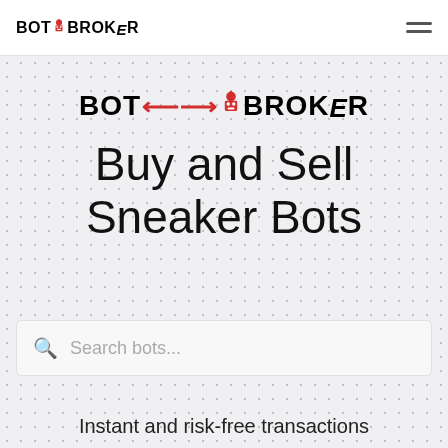BOT BROKER
[Figure (logo): Bot Broker logo with robot icon and red arrows, centered on hero area]
Buy and Sell Sneaker Bots
Search bots...
Instant and risk-free transactions